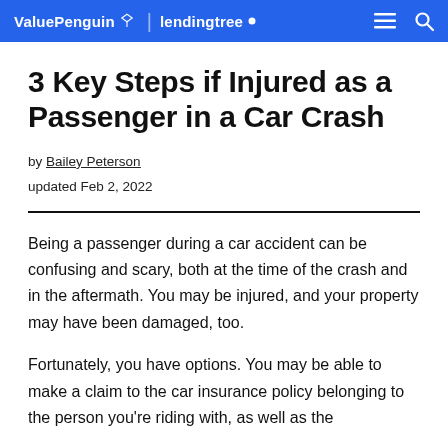ValuePenguin | lendingtree
3 Key Steps if Injured as a Passenger in a Car Crash
by Bailey Peterson
updated Feb 2, 2022
Being a passenger during a car accident can be confusing and scary, both at the time of the crash and in the aftermath. You may be injured, and your property may have been damaged, too.
Fortunately, you have options. You may be able to make a claim to the car insurance policy belonging to the person you're riding with, as well as the